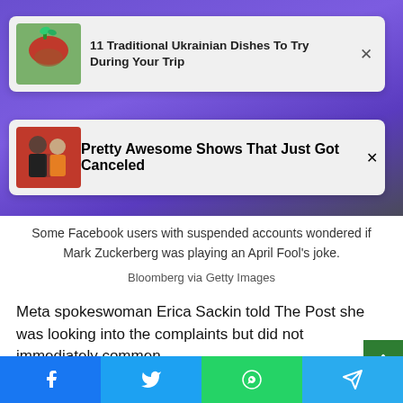[Figure (screenshot): Sponsored content card showing '11 Traditional Ukrainian Dishes To Try During Your Trip' with food thumbnail and X close button, overlaid on purple blurred background photo]
[Figure (screenshot): Sponsored content card showing 'Pretty Awesome Shows That Just Got Canceled' with couple photo thumbnail and X close button]
Some Facebook users with suspended accounts wondered if Mark Zuckerberg was playing an April Fool's joke.
Bloomberg via Getty Images
Meta spokeswoman Erica Sackin told The Post she was looking into the complaints but did not immediately comment